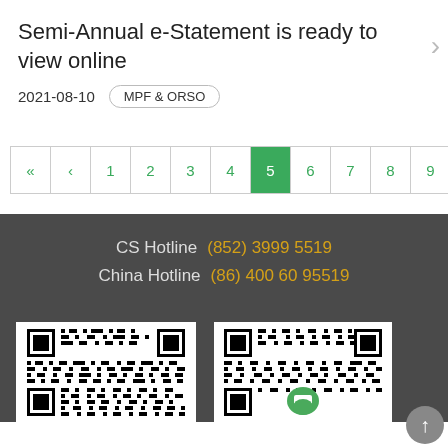Semi-Annual e-Statement is ready to view online
2021-08-10   MPF & ORSO
« ‹ 1 2 3 4 5 6 7 8 9 ... › »
CS Hotline  (852) 3999 5519
China Hotline  (86) 400 60 95519
[Figure (other): QR code image 1]
[Figure (other): QR code image 2 with logo]